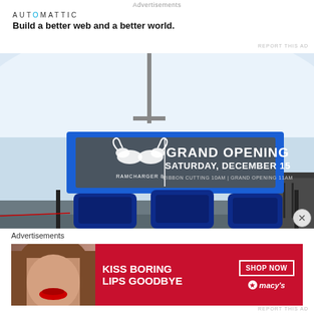Advertisements
[Figure (logo): Automattic logo and tagline: Build a better web and a better world.]
REPORT THIS AD
[Figure (photo): Photo of Ramcharger 8 ski lift gondola at a ski resort in winter snow. Large blue housing with a sign reading GRAND OPENING SATURDAY, DECEMBER 15. RIBBON CUTTING 10AM | GRAND OPENING 11AM. RAMCHARGER 8 logo with two rams.]
Advertisements
[Figure (screenshot): Macy's advertisement banner: KISS BORING LIPS GOODBYE with a woman wearing red lipstick. SHOP NOW button and Macy's star logo on red background.]